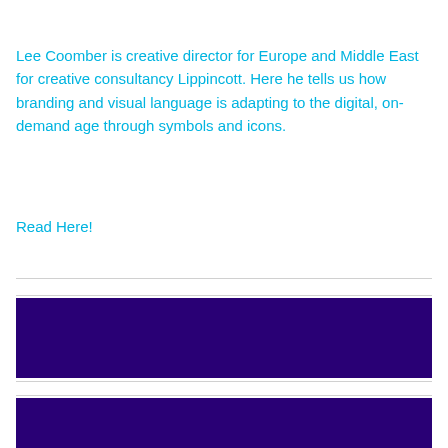Lee Coomber is creative director for Europe and Middle East for creative consultancy Lippincott. Here he tells us how branding and visual language is adapting to the digital, on-demand age through symbols and icons.
Read Here!
[Figure (other): Dark purple/indigo colored rectangular banner block]
[Figure (other): Dark purple/indigo colored rectangular banner block]